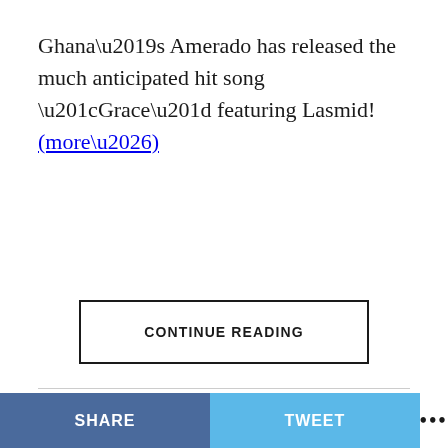Ghana's Amerado has released the much anticipated hit song “Grace” featuring Lasmid! (more…)
CONTINUE READING
WORLD NEWS
SHARE   TWEET   •••